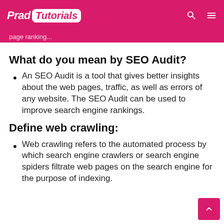Prad Tutorials
What do you mean by SEO Audit?
An SEO Audit is a tool that gives better insights about the web pages, traffic, as well as errors of any website. The SEO Audit can be used to improve search engine rankings.
Define web crawling:
Web crawling refers to the automated process by which search engine crawlers or search engine spiders filtrate web pages on the search engine for the purpose of indexing.